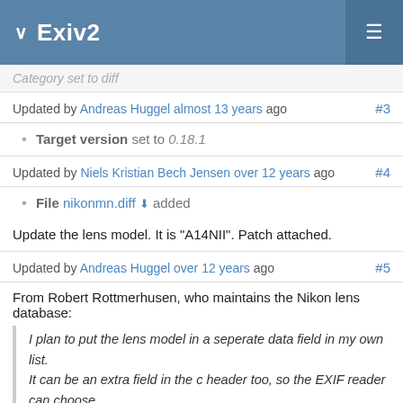Exiv2
Category set to diff
Updated by Andreas Huggel almost 13 years ago #3
Target version set to 0.18.1
Updated by Niels Kristian Bech Jensen over 12 years ago #4
File nikonmn.diff added
Update the lens model. It is "A14NII". Patch attached.
Updated by Andreas Huggel over 12 years ago #5
From Robert Rottmerhusen, who maintains the Nikon lens database:
I plan to put the lens model in a seperate data field in my own list.
It can be an extra field in the c header too, so the EXIF reader can choose
how and where to display it.
Updated by Andreas Huggel over 12 years ago #6